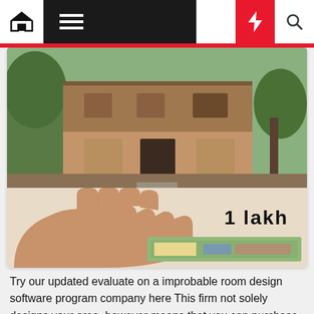Navigation bar with home, menu, dark mode, bolt/flash, and search icons
[Figure (photo): A two-story house or building exterior with trees and greenery, followed by a hand holding currency notes with text '1 lakh' overlaid in bold black font]
Try our updated evaluate on a improbable room design software program company here This firm not solely designs your area, however means that you can purchase the furnishings and decor from you design. The Forest Park design provides individually crafted facades that may encourage you by offering a alternative of [...]